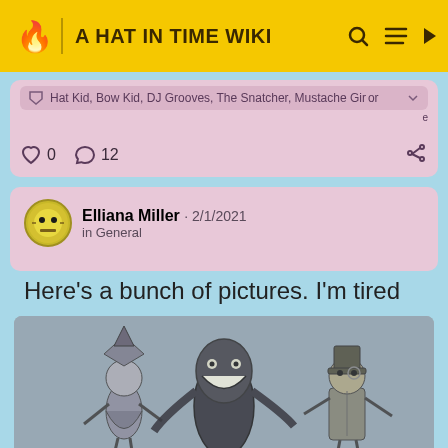A HAT IN TIME WIKI
Hat Kid, Bow Kid, DJ Grooves, The Snatcher, Mustache Girl or e
0  12
Elliana Miller · 2/1/2021 in General
Here's a bunch of pictures. I'm tired
[Figure (photo): Pencil drawing of A Hat in Time characters including Hat Kid, a creature with a wide grin, and DJ Grooves, drawn on paper]